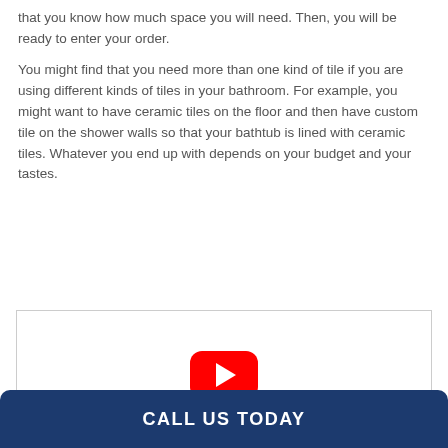that you know how much space you will need. Then, you will be ready to enter your order.

You might find that you need more than one kind of tile if you are using different kinds of tiles in your bathroom. For example, you might want to have ceramic tiles on the floor and then have custom tile on the shower walls so that your bathtub is lined with ceramic tiles. Whatever you end up with depends on your budget and your tastes.
[Figure (other): Embedded YouTube video player placeholder showing a red YouTube play button on a white background with a thin grey border.]
CALL US TODAY